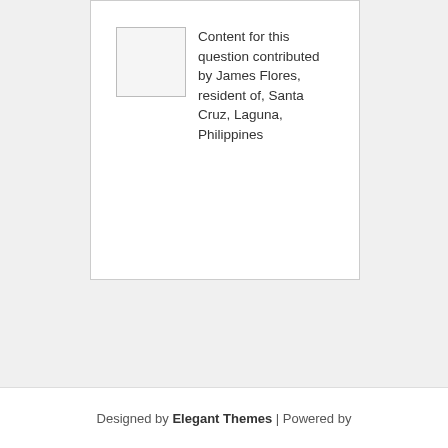[Figure (illustration): A white rectangular placeholder image with a light gray border]
Content for this question contributed by James Flores, resident of, Santa Cruz, Laguna, Philippines
Designed by Elegant Themes | Powered by